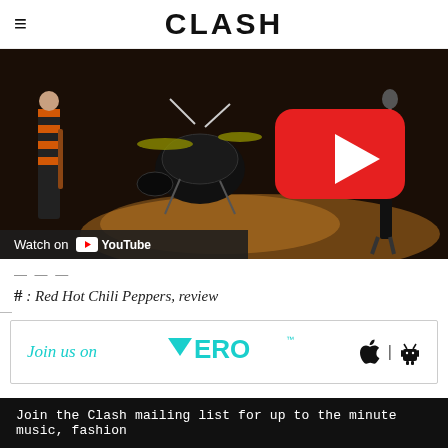CLASH
[Figure (screenshot): YouTube video embed showing a band performing on stage with drums and guitars. A large red YouTube play button is visible in the center. A 'Watch on YouTube' bar appears at the bottom left.]
---
#: Red Hot Chili Peppers, review
[Figure (infographic): Vero social platform banner: 'Join us on VERO' with Apple and Android icons]
Join the Clash mailing list for up to the minute music, fashion